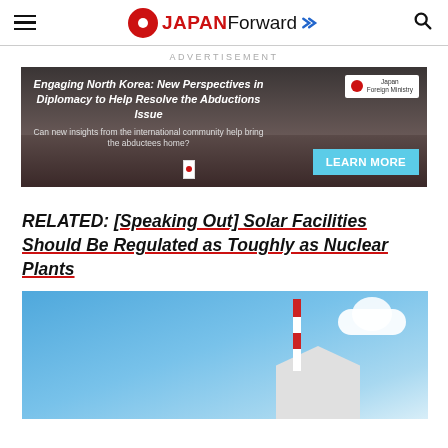JAPAN Forward
[Figure (photo): Advertisement banner: 'Engaging North Korea: New Perspectives in Diplomacy to Help Resolve the Abductions Issue' with a photo of a panel discussion and a Learn More button. Japan Foreign Ministry logo visible.]
RELATED: [Speaking Out] Solar Facilities Should Be Regulated as Toughly as Nuclear Plants
[Figure (photo): Photo of a red and white communications tower against a blue sky, with a white angular building below.]